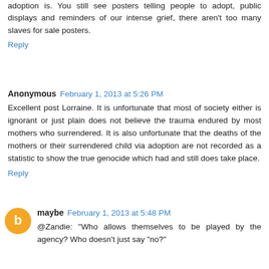adoption is. You still see posters telling people to adopt, public displays and reminders of our intense grief, there aren't too many slaves for sale posters.
Reply
Anonymous  February 1, 2013 at 5:26 PM
Excellent post Lorraine. It is unfortunate that most of society either is ignorant or just plain does not believe the trauma endured by most mothers who surrendered. It is also unfortunate that the deaths of the mothers or their surrendered child via adoption are not recorded as a statistic to show the true genocide which had and still does take place.
Reply
maybe  February 1, 2013 at 5:48 PM
@Zandie: "Who allows themselves to be played by the agency? Who doesn't just say "no?"